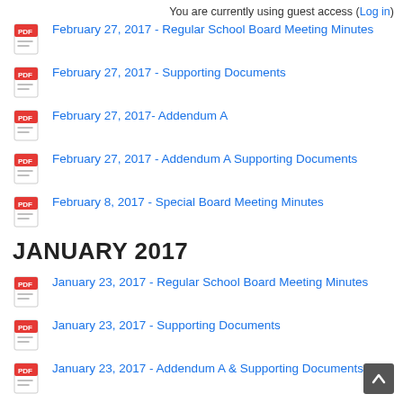You are currently using guest access (Log in)
February 27, 2017 - Regular School Board Meeting Minutes
February 27, 2017 - Supporting Documents
February 27, 2017- Addendum A
February 27, 2017 - Addendum A Supporting Documents
February 8, 2017 - Special Board Meeting Minutes
JANUARY 2017
January 23, 2017 - Regular School Board Meeting Minutes
January 23, 2017 - Supporting Documents
January 23, 2017 - Addendum A & Supporting Documents
DECEMBER 2016